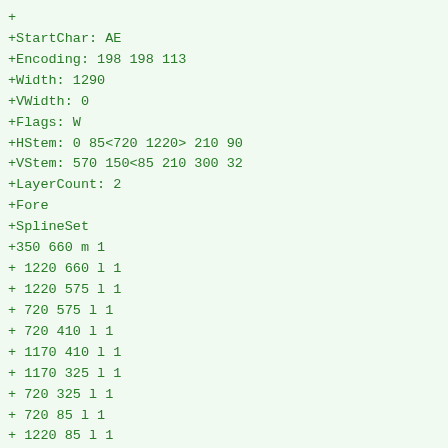+
+StartChar: AE
+Encoding: 198 198 113
+Width: 1290
+VWidth: 0
+Flags: W
+HStem: 0 85<720 1220> 210 90
+VStem: 570 150<85 210 300 32
+LayerCount: 2
+Fore
+SplineSet
+350 660 m 1
+ 1220 660 l 1
+ 1220 575 l 1
+ 720 575 l 1
+ 720 410 l 1
+ 1170 410 l 1
+ 1170 325 l 1
+ 720 325 l 1
+ 720 85 l 1
+ 1220 85 l 1
+ 1220 0 l 1
+ 570 0 l 1
+ 570 210 l 1
+ 285 210 l 1
+ 180 0 l 1
+ 20 0 l 1
+ 350 660 l 1
+467 574 m 1
+ 330 300 l 1
+ 570 300 l 1
+ 570 574 l 1